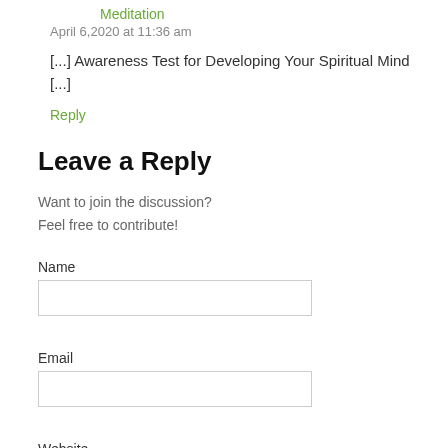Meditation
April 6,2020 at 11:36 am
[...] Awareness Test for Developing Your Spiritual Mind [...]
Reply
Leave a Reply
Want to join the discussion?
Feel free to contribute!
Name
Email
Website